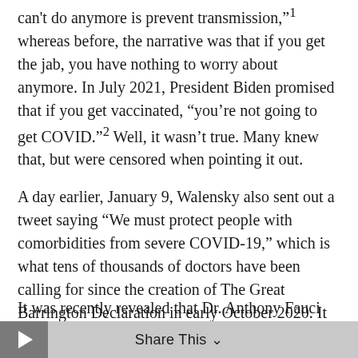can't do anymore is prevent transmission,"1 whereas before, the narrative was that if you get the jab, you have nothing to worry about anymore. In July 2021, President Biden promised that if you get vaccinated, "you're not going to get COVID."2 Well, it wasn't true. Many knew that, but were censored when pointing it out.
A day earlier, January 9, Walensky also sent out a tweet saying "We must protect people with comorbidities from severe COVID-19," which is what tens of thousands of doctors have been calling for since the creation of The Great Barrington Declaration in early October 2020. It called for focused protection of high-risk individuals, such as the elderly, rather than blanket lockdowns.
Share This
It was recently revealed that Dr. Anthony Fauci